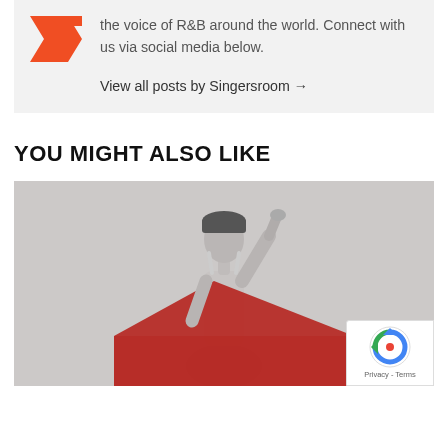the voice of R&B around the world. Connect with us via social media below.
View all posts by Singersroom →
YOU MIGHT ALSO LIKE
[Figure (photo): Black and white photo of a female R&B artist in a sleeveless top with arm raised, with a red graphic element at the bottom]